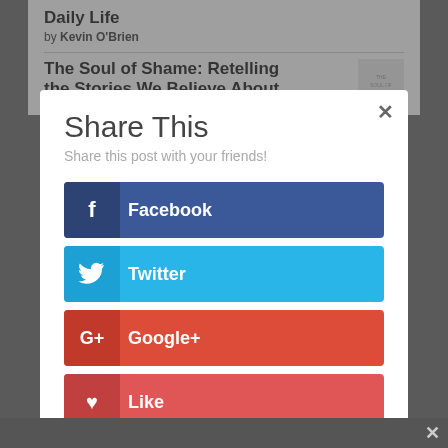Daily Life
by Kevin O'Brien
The Soul of Shame: Retelling the Stories We Believe About Ourselves
Share This
Share this post with your friends!
Facebook
Twitter
Google+
Like
···